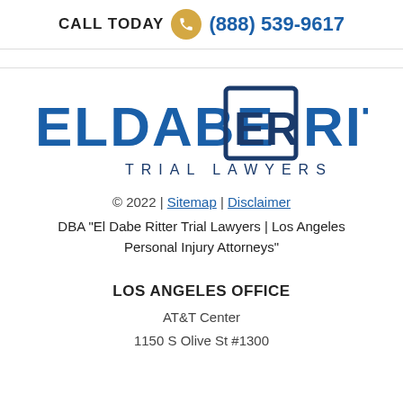CALL TODAY (888) 539-9617
[Figure (logo): Eldabe Ritter Trial Lawyers logo with ER monogram in square]
© 2022 | Sitemap | Disclaimer
DBA "El Dabe Ritter Trial Lawyers | Los Angeles Personal Injury Attorneys"
LOS ANGELES OFFICE
AT&T Center
1150 S Olive St #1300